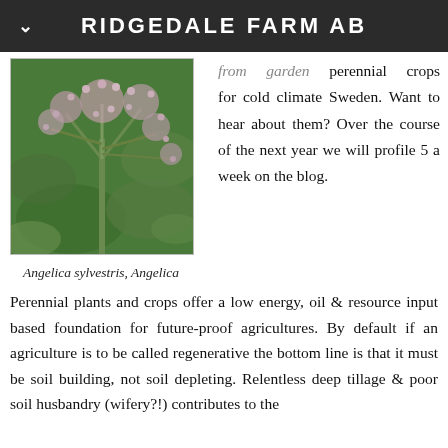RIDGEDALE FARM AB
[Figure (photo): Close-up photograph of Angelica sylvestris (Angelica) plant with pink-purple flower clusters against green foliage background]
Angelica sylvestris, Angelica
…from garden … perennial crops for cold climate Sweden. Want to hear about them? Over the course of the next year we will profile 5 a week on the blog.
Perennial plants and crops offer a low energy, oil & resource input based foundation for future-proof agricultures. By default if an agriculture is to be called regenerative the bottom line is that it must be soil building, not soil depleting. Relentless deep tillage & poor soil husbandry (wifery?!) contributes to the